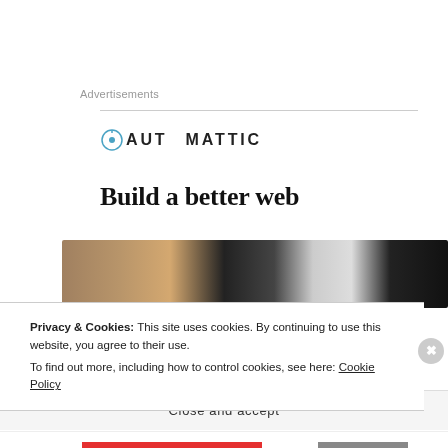Advertisements
[Figure (logo): Automattic logo with compass icon]
Build a better web
[Figure (photo): Dark advertisement image with blurred interior/workspace scene]
Privacy & Cookies: This site uses cookies. By continuing to use this website, you agree to their use.
To find out more, including how to control cookies, see here: Cookie Policy
Close and accept